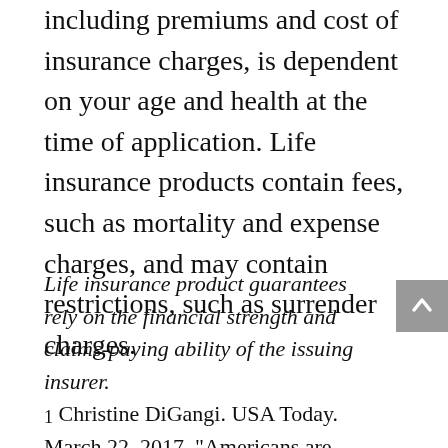including premiums and cost of insurance charges, is dependent on your age and health at the time of application. Life insurance products contain fees, such as mortality and expense charges, and may contain restrictions, such as surrender charges.
Life insurance product guarantees rely on the financial strength and claims-paying ability of the issuing insurer. 1 Christine DiGangi. USA Today. March 22, 2017. "Americans are dying with an average of $62K of debt." https://www.usatoday.com/story/money/...